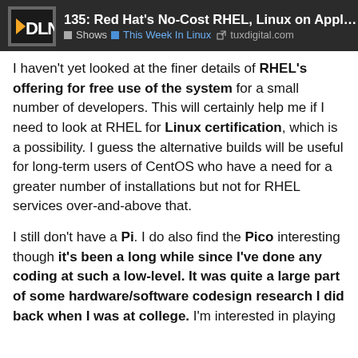135: Red Hat's No-Cost RHEL, Linux on Apple ... Shows This Week In Linux tuxdigital.com
I haven't yet looked at the finer details of RHEL's offering for free use of the system for a small number of developers. This will certainly help me if I need to look at RHEL for Linux certification, which is a possibility. I guess the alternative builds will be useful for long-term users of CentOS who have a need for a greater number of installations but not for RHEL services over-and-above that.
I still don't have a Pi. I do also find the Pico interesting though it's been a long while since I've done any coding at such a low-level. It was quite a large part of some hardware/software codesign research I did back when I was at college. I'm interested in playing with it a bit using C/C++.
Like a lot of people, I have to say I've probably neglected openSuse. The structure you describe does sound fascinating. I wonder if CentOS Stream is moving a little closer to that? Having just visited openSuse website, I'm how Tumbleweed's reliability compares to
1 / 3